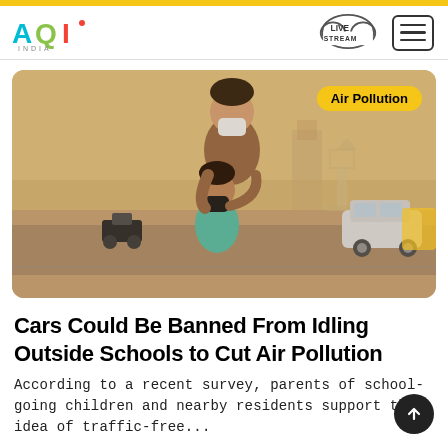AQI India - Live Stream
[Figure (photo): A parent wearing a mask adjusting a black face mask on a young child standing on a road in Delhi with hazy polluted air, cars and a motorcycle in the background, India Gate visible in the distance. Yellow tag overlay reads 'Air Pollution'.]
Cars Could Be Banned From Idling Outside Schools to Cut Air Pollution
According to a recent survey, parents of school-going children and nearby residents support the idea of traffic-free...